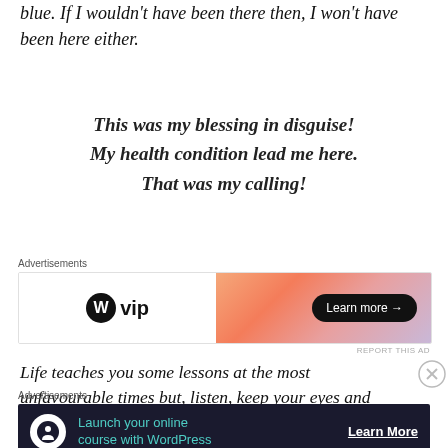blue. If I wouldn't have been there then, I won't have been here either.
This was my blessing in disguise! My health condition lead me here. That was my calling!
[Figure (other): WordPress VIP advertisement banner with gradient orange-pink background and Learn more button]
Life teaches you some lessons at the most unfavourable times but, listen, keep your eyes and ears open, the Universe is trying to tell you
[Figure (other): Advertisement banner: Launch your online course with WordPress, dark navy background with teal text and Learn More button]